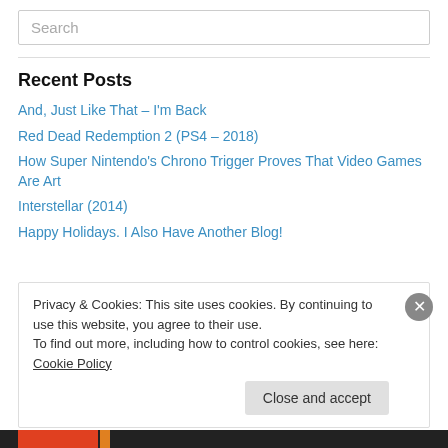Search
Recent Posts
And, Just Like That – I'm Back
Red Dead Redemption 2 (PS4 – 2018)
How Super Nintendo's Chrono Trigger Proves That Video Games Are Art
Interstellar (2014)
Happy Holidays. I Also Have Another Blog!
Privacy & Cookies: This site uses cookies. By continuing to use this website, you agree to their use. To find out more, including how to control cookies, see here: Cookie Policy